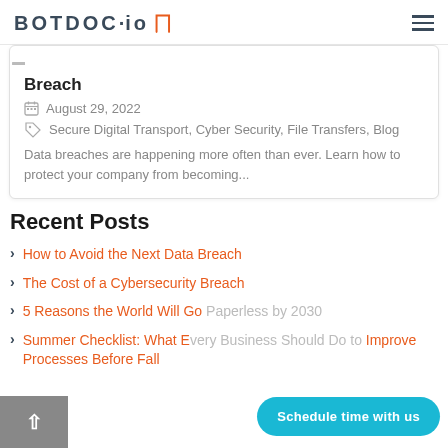BOTDOC·io [logo]
How to Avoid the Next Data Breach
August 29, 2022
Secure Digital Transport, Cyber Security, File Transfers, Blog
Data breaches are happening more often than ever. Learn how to protect your company from becoming...
Recent Posts
How to Avoid the Next Data Breach
The Cost of a Cybersecurity Breach
5 Reasons the World Will Go Paperless by 2030
Summer Checklist: What Every Business Should Do to Improve Processes Before Fall